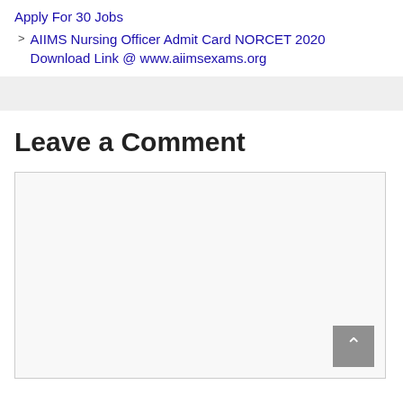Apply For 30 Jobs
AIIMS Nursing Officer Admit Card NORCET 2020 Download Link @ www.aiimsexams.org
Leave a Comment
[Figure (screenshot): Comment text area input box, light gray background with border, with a scroll-to-top button in the bottom right corner]